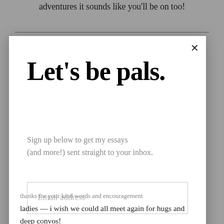adventures it sounds like you'll be on too!
Let's be pals.
Sign up below to get my essays (and more!) sent straight to your inbox.
Email address
Subscribe
thanks for your kind words and encouragement ladies — i wish we could all meet again for hugs and deep convos!